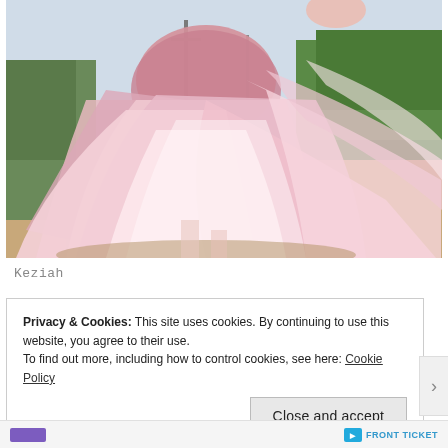[Figure (photo): A person in a flowing pink layered tulle/chiffon dress spinning or running on a dirt road, with green trees in the background. Only the lower body and one arm are visible, the dress billowing outward dramatically.]
Keziah
Privacy & Cookies: This site uses cookies. By continuing to use this website, you agree to their use.
To find out more, including how to control cookies, see here: Cookie Policy
Close and accept
FRONT TICKET